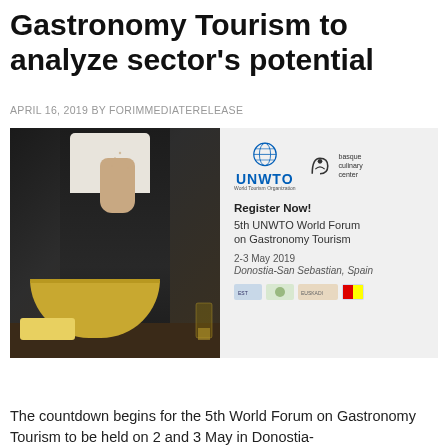Gastronomy Tourism to analyze sector's potential
APRIL 16, 2019 BY FORIMMEDIATERELEASE
[Figure (photo): Composite image: left side shows a chef in dark apron sprinkling seasoning over a bowl in a dark kitchen setting; right side shows a registration panel for the 5th UNWTO World Forum on Gastronomy Tourism, 2-3 May 2019, Donostia San Sebastian, Spain, with UNWTO and Basque Culinary Center logos.]
The countdown begins for the 5th World Forum on Gastronomy Tourism to be held on 2 and 3 May in Donostia-